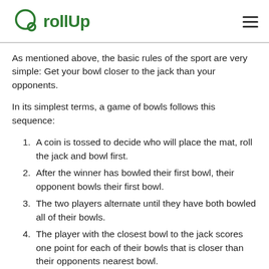rollUp
As mentioned above, the basic rules of the sport are very simple: Get your bowl closer to the jack than your opponents.
In its simplest terms, a game of bowls follows this sequence:
1. A coin is tossed to decide who will place the mat, roll the jack and bowl first.
2. After the winner has bowled their first bowl, their opponent bowls their first bowl.
3. The two players alternate until they have both bowled all of their bowls.
4. The player with the closest bowl to the jack scores one point for each of their bowls that is closer than their opponents nearest bowl.